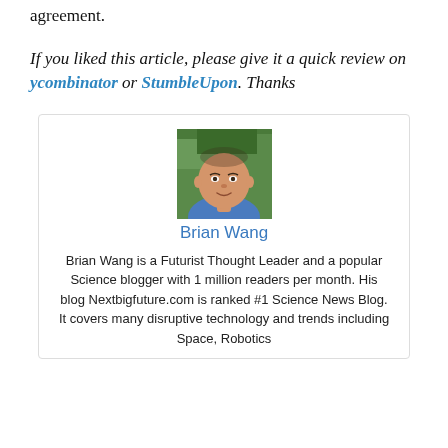agreement.
If you liked this article, please give it a quick review on ycombinator or StumbleUpon. Thanks
[Figure (photo): Headshot photo of Brian Wang, a man in a blue shirt with green foliage background]
Brian Wang
Brian Wang is a Futurist Thought Leader and a popular Science blogger with 1 million readers per month. His blog Nextbigfuture.com is ranked #1 Science News Blog. It covers many disruptive technology and trends including Space, Robotics